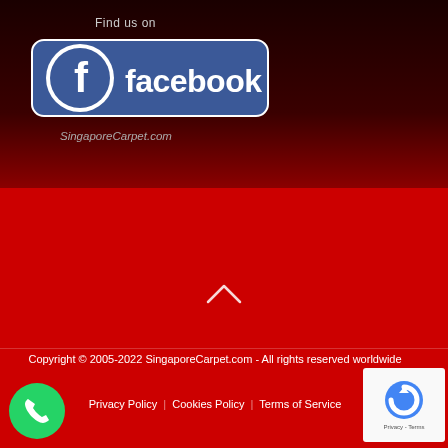[Figure (logo): Facebook logo badge with 'Find us on' text above and SingaporeCarpet.com text below]
[Figure (illustration): Large red background area (advertisement/content block)]
[Figure (illustration): Up chevron arrow icon for scroll to top]
Copyright © 2005-2022 SingaporeCarpet.com - All rights reserved worldwide
Privacy Policy   Cookies Policy   Terms of Service
[Figure (logo): WhatsApp contact button (green circle with phone icon)]
[Figure (logo): Google reCAPTCHA badge]